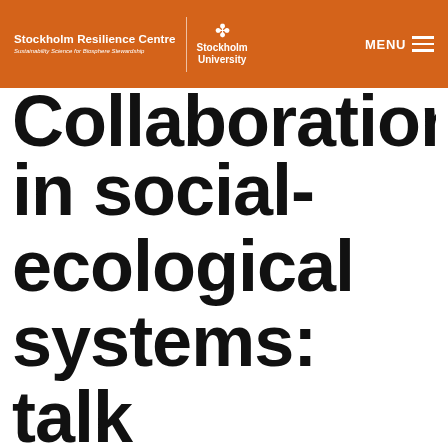Stockholm Resilience Centre — Sustainability Science for Biosphere Stewardship | Stockholm University | MENU
Collaboration in social-ecological systems: talk or action?